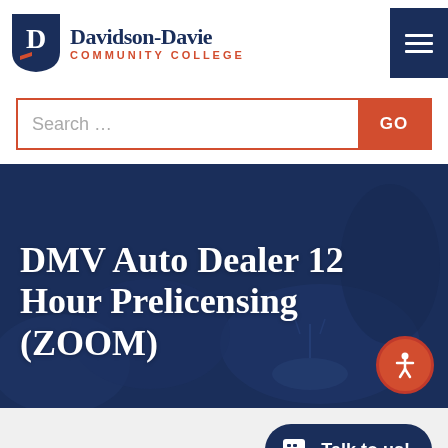[Figure (logo): Davidson-Davie Community College logo with shield emblem and college name]
[Figure (screenshot): Search bar with text input and orange GO button]
DMV Auto Dealer 12 Hour Prelicensing (ZOOM)
[Figure (illustration): Accessibility icon button (orange circle with person figure)]
[Figure (illustration): Talk to us! chat button in navy blue pill shape]